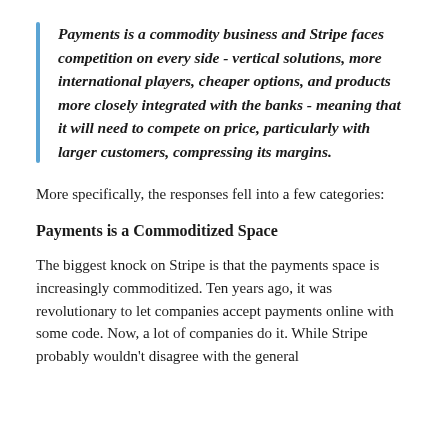Payments is a commodity business and Stripe faces competition on every side - vertical solutions, more international players, cheaper options, and products more closely integrated with the banks - meaning that it will need to compete on price, particularly with larger customers, compressing its margins.
More specifically, the responses fell into a few categories:
Payments is a Commoditized Space
The biggest knock on Stripe is that the payments space is increasingly commoditized. Ten years ago, it was revolutionary to let companies accept payments online with some code. Now, a lot of companies do it. While Stripe probably wouldn't disagree with the general